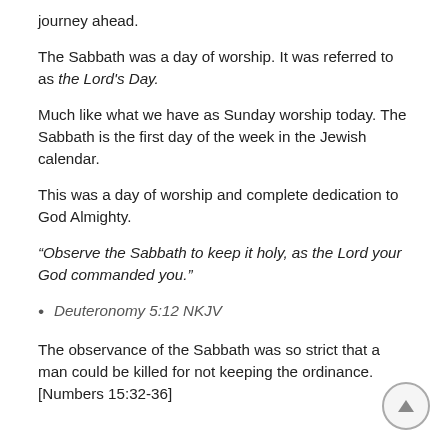journey ahead.
The Sabbath was a day of worship. It was referred to as the Lord's Day.
Much like what we have as Sunday worship today. The Sabbath is the first day of the week in the Jewish calendar.
This was a day of worship and complete dedication to God Almighty.
“Observe the Sabbath to keep it holy, as the Lord your God commanded you.”
Deuteronomy 5:12 NKJV
The observance of the Sabbath was so strict that a man could be killed for not keeping the ordinance. [Numbers 15:32-36]